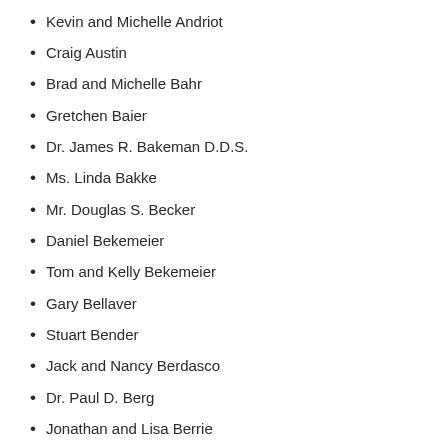Kevin and Michelle Andriot
Craig Austin
Brad and Michelle Bahr
Gretchen Baier
Dr. James R. Bakeman D.D.S.
Ms. Linda Bakke
Mr. Douglas S. Becker
Daniel Bekemeier
Tom and Kelly Bekemeier
Gary Bellaver
Stuart Bender
Jack and Nancy Berdasco
Dr. Paul D. Berg
Jonathan and Lisa Berrie
Chris Bidlack
Matthew G. Bishop
Kathy Biskupski
John T. Blaha Family Charitable Fund
Dr. and Mrs. Blair
Mr. and Mrs. Blanchard